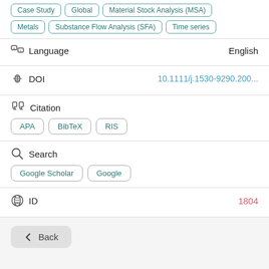Case Study | Global | Material Stock Analysis (MSA)
Metals | Substance Flow Analysis (SFA) | Time series
Language — English
DOI — 10.1111/j.1530-9290.200...
Citation
APA
BibTeX
RIS
Search
Google Scholar
Google
ID — 1804
← Back